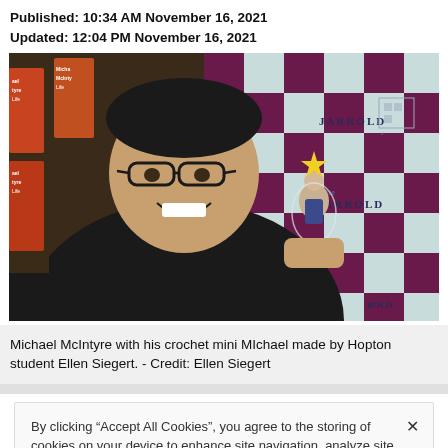Published: 10:34 AM November 16, 2021
Updated: 12:04 PM November 16, 2021
[Figure (photo): Michael McIntyre smiling and holding up a small crochet doll of himself, standing in front of a Jarrold store checkerboard backdrop with books on shelves behind him.]
Michael McIntyre with his crochet mini MIchael made by Hopton student Ellen Siegert. - Credit: Ellen Siegert
By clicking “Accept All Cookies”, you agree to the storing of cookies on your device to enhance site navigation, analyze site usage, and assist in our marketing efforts.